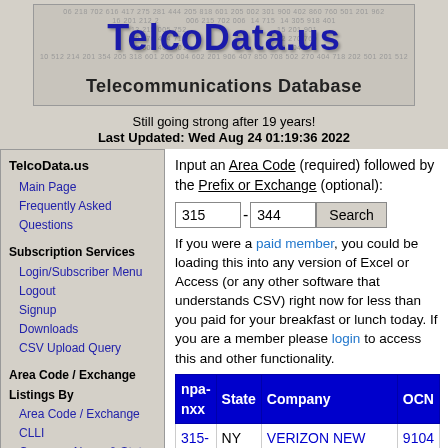[Figure (logo): TelcoData.us banner with phone numbers background, large blue title 'TelcoData.us' and subtitle 'Telecommunications Database']
Still going strong after 19 years!
Last Updated: Wed Aug 24 01:19:36 2022
TelcoData.us
Main Page
Frequently Asked Questions
Subscription Services
Login/Subscriber Menu
Logout
Signup
Downloads
CSV Upload Query
Area Code / Exchange Listings By
Area Code / Exchange
CLLI
Company Name & State
Rate Center & State
OCN
LATA
Switch Listings By
Input an Area Code (required) followed by the Prefix or Exchange (optional):
If you were a paid member, you could be loading this into any version of Excel or Access (or any other software that understands CSV) right now for less than you paid for your breakfast or lunch today. If you are a member please login to access this and other functionality.
| npa-nxx | State | Company | OCN |
| --- | --- | --- | --- |
| 315-344 | NY | VERIZON NEW YORK, INC. (Verizon Communications) | 9104 |